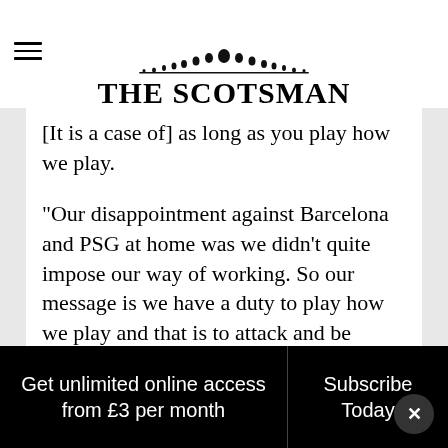THE SCOTSMAN
[It is a case of] as long as you play how we play.
“Our disappointment against Barcelona and PSG at home was we didn’t quite impose our way of working. So our message is we have a duty to play how we play and that is to attack and be aggressive.
“The players have shown over the course of 16 months the improvements they are making. It takes a little bit more time at this
Get unlimited online access from £3 per month | Subscribe Today